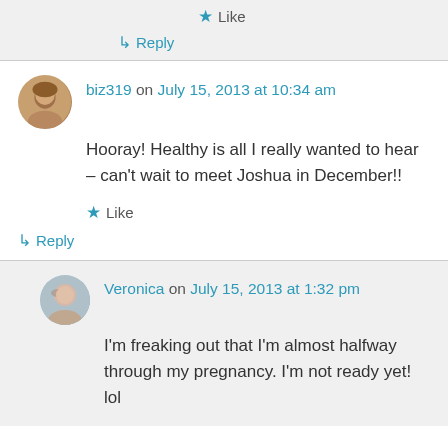Like
↳ Reply
biz319 on July 15, 2013 at 10:34 am
Hooray! Healthy is all I really wanted to hear – can't wait to meet Joshua in December!!
Like
↳ Reply
Veronica on July 15, 2013 at 1:32 pm
I'm freaking out that I'm almost halfway through my pregnancy. I'm not ready yet! lol